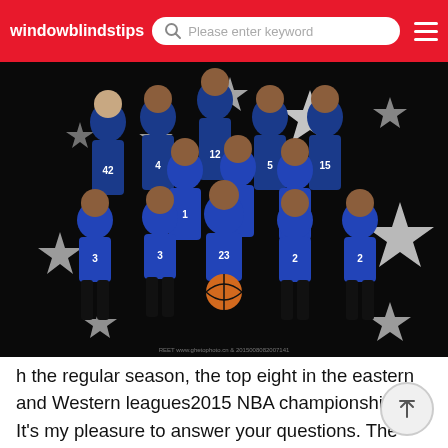windowblindstips  [search: Please enter keyword]
[Figure (photo): NBA Eastern Conference All-Star team group photo. Players wearing blue 'EAST' jerseys with numbers including 3, 4, 5, 9, 12, 15, 23, 34, 42, 2, 1. Standing and seated in front of a black background decorated with large white stars.]
h the regular season, the top eight in the eastern and Western leagues2015 NBA championship
It's my pleasure to answer your questions. The 2015 NBA championship was the Golden State Warriors' 2015 NBA finals. From June 5 to 17, the Golden State Warriors and the